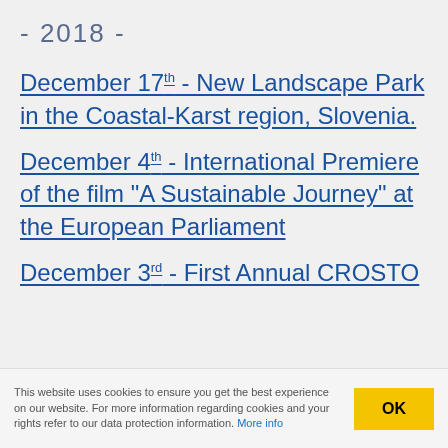- 2018 -
December 17th - New Landscape Park in the Coastal-Karst region, Slovenia.
December 4th - International Premiere of the film "A Sustainable Journey" at the European Parliament
December 3rd - First Annual CROSTO
This website uses cookies to ensure you get the best experience on our website. For more information regarding cookies and your rights refer to our data protection information. More info